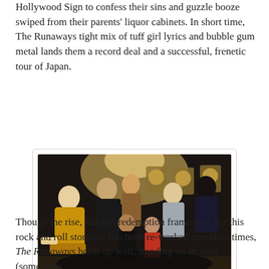Hollywood Sign to confess their sins and guzzle booze swiped from their parents' liquor cabinets. In short time, The Runaways tight mix of tuff girl lyrics and bubble gum metal lands them a record deal and a successful, frenetic tour of Japan.
[Figure (photo): Group photo of several young people (actors in costume) sitting together in a dimly lit room with gold records on the wall in the background. One person in a golden/yellow outfit is on the left, others are arranged in a group.]
You tell them they can't keep their wardrobes when filming is done
Though the rise, fall and redemption framework for this rock and roll storyline has been re-worked countless times, The Runaways holds up well, standing on its own (sometimes